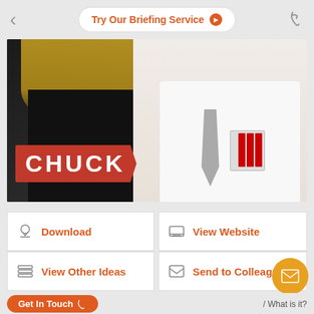Try Our Briefing Service
[Figure (photo): Promotional image for the TV show Chuck, showing two characters - a woman in black and a man in white shirt with tie and ID badge. Red banner with 'CHUCK' text in white.]
Download
View Website
View Other Ideas
Send to Colleague
Contact Details
Get In Touch  / What is it?